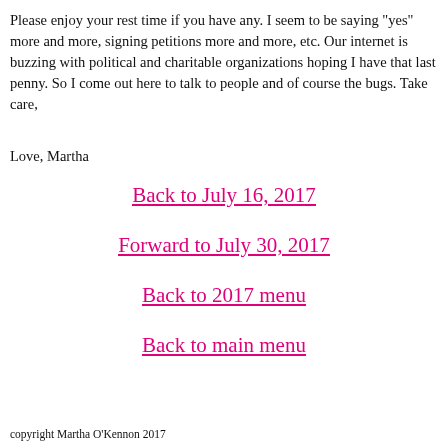Please enjoy your rest time if you have any. I seem to be saying "yes" more and more, signing petitions more and more, etc. Our internet is buzzing with political and charitable organizations hoping I have that last penny. So I come out here to talk to people and of course the bugs. Take care,
Love, Martha
Back to July 16, 2017
Forward to July 30, 2017
Back to 2017 menu
Back to main menu
copyright Martha O'Kennon 2017